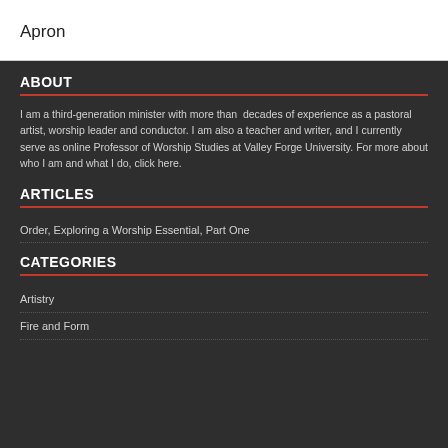Apron
ABOUT
I am a third-generation minister with more than  decades of experience as a pastoral artist, worship leader and conductor. I am also a teacher and writer, and I currently serve as online Professor of Worship Studies at Valley Forge University. For more about who I am and what I do, click here.
ARTICLES
Order, Exploring a Worship Essential, Part One
CATEGORIES
Artistry
Fire and Form